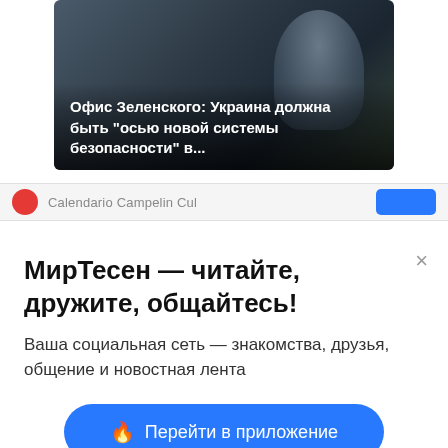[Figure (screenshot): News article thumbnail showing a man's face outdoors with text overlay in Russian: Офис Зеленского: Украина должна быть "осью новой системы безопасности" в...]
Офис Зеленского: Украина должна быть "осью новой системы безопасности" в...
МирТесен — читайте, дружите, общайтесь!
Ваша социальная сеть — знакомства, друзья, общение и новостная лента
Перейти в приложение
Продолжить на сайте